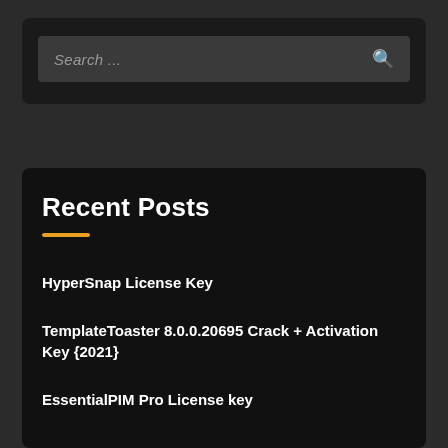[Figure (screenshot): Search box with dark background and placeholder text 'Search ...' with a magnifying glass icon on the right]
Recent Posts
HyperSnap License Key
TemplateToaster 8.0.0.20695 Crack + Activation Key {2021}
EssentialPIM Pro License key